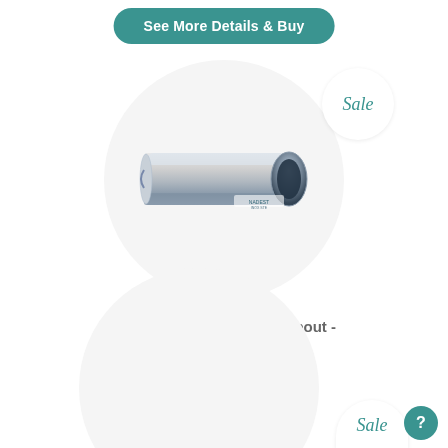See More Details & Buy
[Figure (photo): Stainless steel round water spout pipe fitting with polished finish, Nadest brand watermark visible]
Sale
Beretta
2" Round Water Spout - Stainless Steel
$189.95 $159.95
See More Details & Buy
Sale